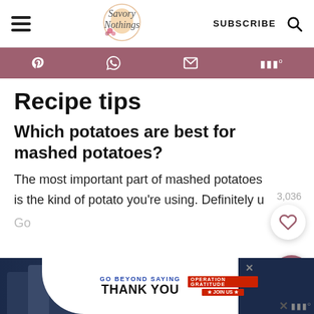Savory Nothings — SUBSCRIBE
Recipe tips
Which potatoes are best for mashed potatoes?
The most important part of mashed potatoes is the kind of potato you're using. Definitely u…
[Figure (screenshot): Advertisement banner: GO BEYOND SAYING THANK YOU — Operation Gratitude JOIN US]
Go…